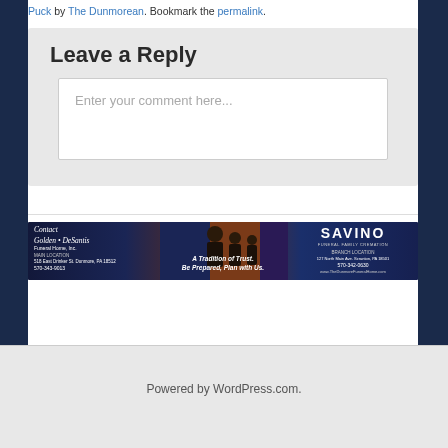Puck by The Dunmorean. Bookmark the permalink.
Leave a Reply
Enter your comment here...
[Figure (photo): Savino Funeral Home advertisement banner showing staff and contact information. Text: Contact Golden DeSantis Funeral Home, Inc. A Tradition of Trust. Be Prepared, Plan with Us. SAVINO Funeral Family Cremation.]
Powered by WordPress.com.